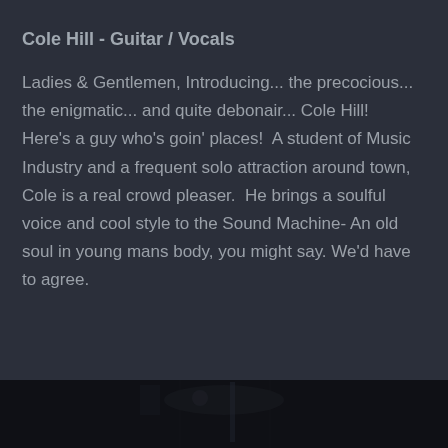Cole Hill - Guitar / Vocals
Ladies & Gentlemen, Introducing... the precocious... the enigmatic... and quite debonair... Cole Hill!  Here's a guy who's goin' places!  A student of Music Industry and a frequent solo attraction around town, Cole is a real crowd pleaser.  He brings a soulful voice and cool style to the Sound Machine- An old soul in young mans body, you might say. We'd have to agree.
[Figure (photo): Dark photo strip at the bottom of the page, showing a dimly lit image, likely a performance or band photo.]